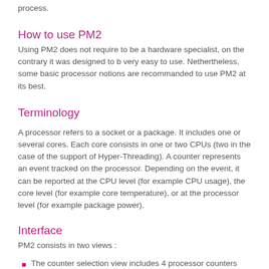process.
How to use PM2
Using PM2 does not require to be a hardware specialist, on the contrary it was designed to b very easy to use. Nethertheless, some basic processor notions are recommanded to use PM2 at its best.
Terminology
A processor refers to a socket or a package. It includes one or several cores. Each core consists in one or two CPUs (two in the case of the support of Hyper-Threading). A counter represents an event tracked on the processor. Depending on the event, it can be reported at the CPU level (for example CPU usage), the core level (for example core temperature), or at the processor level (for example package power).
Interface
PM2 consists in two views :
The counter selection view includes 4 processor counters and allows to choose the counters to track. When possible, the data reported on these counters are at the processor level.